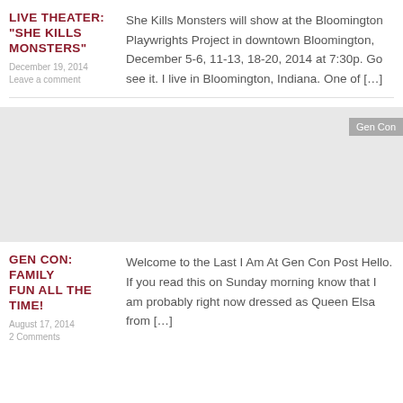LIVE THEATER: "SHE KILLS MONSTERS"
December 19, 2014
Leave a comment
She Kills Monsters will show at the Bloomington Playwrights Project in downtown Bloomington, December 5-6, 11-13, 18-20, 2014 at 7:30p. Go see it. I live in Bloomington, Indiana. One of [...]
[Figure (photo): Gray placeholder image with 'Gen Con' tag in upper right corner]
GEN CON: FAMILY FUN ALL THE TIME!
August 17, 2014
2 Comments
Welcome to the Last I Am At Gen Con Post Hello. If you read this on Sunday morning know that I am probably right now dressed as Queen Elsa from [...]